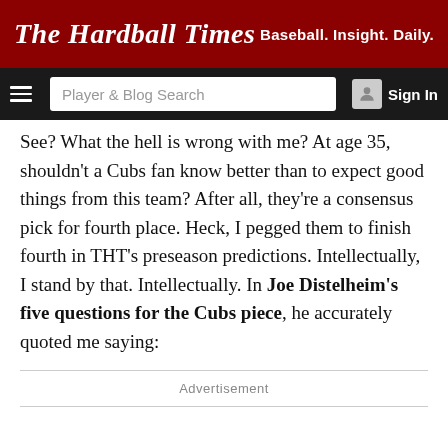The Hardball Times | Baseball. Insight. Daily.
See? What the hell is wrong with me? At age 35, shouldn't a Cubs fan know better than to expect good things from this team? After all, they're a consensus pick for fourth place. Heck, I pegged them to finish fourth in THT's preseason predictions. Intellectually, I stand by that. Intellectually. In Joe Distelheim's five questions for the Cubs piece, he accurately quoted me saying:
Advertisement